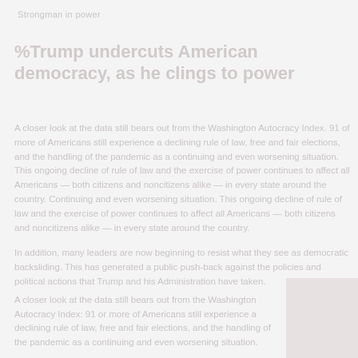Strongman in power
% Trump undercuts American democracy, as he clings to power
A closer look at the data still bears out from the Washington Autocracy Index: 91 of more of Americans still experience a declining rule of law, free and fair elections, and the handling of the pandemic as a continuing and even worsening situation. This ongoing decline of rule of law and the exercise of power continues to affect all Americans — both citizens and noncitizens alike — in every state around the country.
In addition, many leaders are now beginning to resist what they see as democratic backsliding. This has generated a public push-back against the policies and political actions that Trump and his Administration have taken.
[Figure (photo): Small photo or image in the lower right corner of the page, partially visible]
A closer look at the data still bears out from the Washington Autocracy Index: 91 or more of Americans still experience a declining rule of law, free and fair elections, and the handling of the pandemic as a continuing and even worsening situation.